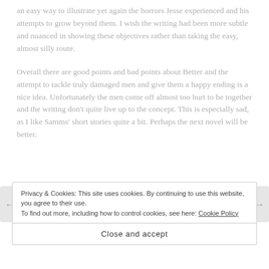an easy way to illustrate yet again the horrors Jesse experienced and his attempts to grow beyond them. I wish the writing had been more subtle and nuanced in showing these objectives rather than taking the easy, almost silly route.
Overall there are good points and bad points about Better and the attempt to tackle truly damaged men and give them a happy ending is a nice idea. Unfortunately the men come off almost too hurt to be together and the writing don't quite live up to the concept. This is especially sad, as I like Samms' short stories quite a bit. Perhaps the next novel will be better.
Privacy & Cookies: This site uses cookies. By continuing to use this website, you agree to their use.
To find out more, including how to control cookies, see here: Cookie Policy
Close and accept